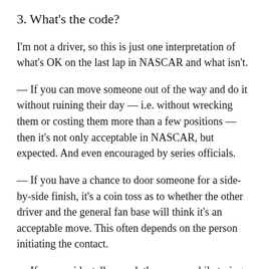3. What's the code?
I'm not a driver, so this is just one interpretation of what's OK on the last lap in NASCAR and what isn't.
— If you can move someone out of the way and do it without ruining their day — i.e. without wrecking them or costing them more than a few positions — then it's not only acceptable in NASCAR, but expected. And even encouraged by series officials.
— If you have a chance to door someone for a side-by-side finish, it's a coin toss as to whether the other driver and the general fan base will think it's an acceptable move. This often depends on the person initiating the contact.
— If you accidentally wreck the person while trying to move them (like Denny Hamlin on Chase Elliott), that is